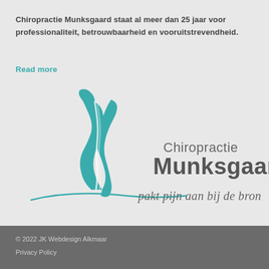Chiropractie Munksgaard staat al meer dan 25 jaar voor professionaliteit, betrouwbaarheid en vooruitstrevendheid.
Read more
[Figure (logo): Chiropractie Munksgaard logo with teal silhouette figure and tagline 'pakt pijn aan bij de bron']
© 2022 JK Webdesign Alkmaar
Privacy Policy